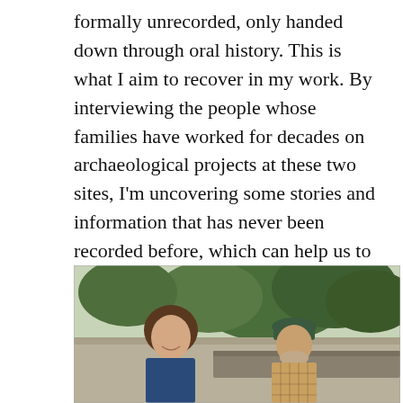formally unrecorded, only handed down through oral history. This is what I aim to recover in my work. By interviewing the people whose families have worked for decades on archaeological projects at these two sites, I'm uncovering some stories and information that has never been recorded before, which can help us to learn even more about the archaeology of both of these exciting places.
[Figure (photo): A young woman with curly brown hair smiling, sitting next to an elderly man wearing a plaid shirt and a green cap, outdoors with trees and a stone wall in the background.]